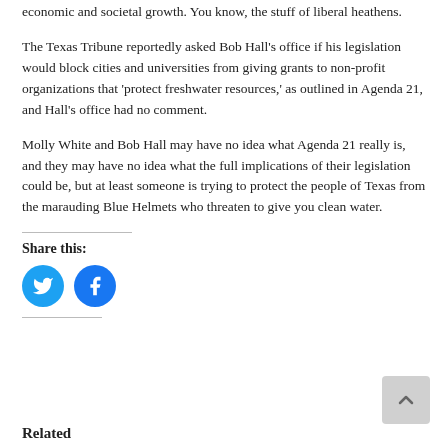economic and societal growth. You know, the stuff of liberal heathens.
The Texas Tribune reportedly asked Bob Hall's office if his legislation would block cities and universities from giving grants to non-profit organizations that 'protect freshwater resources,' as outlined in Agenda 21, and Hall's office had no comment.
Molly White and Bob Hall may have no idea what Agenda 21 really is, and they may have no idea what the full implications of their legislation could be, but at least someone is trying to protect the people of Texas from the marauding Blue Helmets who threaten to give you clean water.
Share this:
[Figure (other): Twitter and Facebook share buttons (circular icons)]
Related